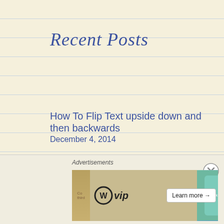Recent Posts
How To Flip Text upside down and then backwards
December 4, 2014
ColdFusion Vs Everyone?
November 18, 2013
Fernando Torres!
July 3, 2013
ColdFusion is used by 0.9% of all the websites whose server-side programming language we know.
June 13, 2013
View Leadboltads.net source code on an Android
Advertisements